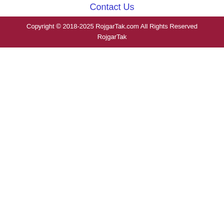Contact Us
Copyright © 2018-2025 RojgarTak.com All Rights Reserved RojgarTak